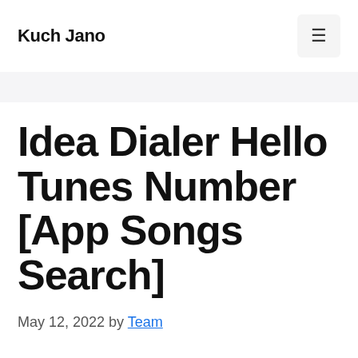Kuch Jano
Idea Dialer Hello Tunes Number [App Songs Search]
May 12, 2022 by Team